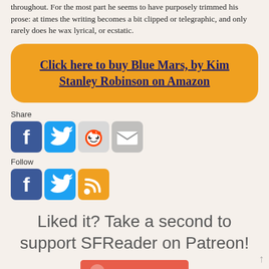throughout. For the most part he seems to have purposely trimmed his prose: at times the writing becomes a bit clipped or telegraphic, and only rarely does he wax lyrical, or ecstatic.
[Figure (other): Orange rounded rectangle button with underlined dark blue bold text: 'Click here to buy Blue Mars, by Kim Stanley Robinson on Amazon']
Share
[Figure (other): Social share icons: Facebook, Twitter, Reddit, Email]
Follow
[Figure (other): Social follow icons: Facebook, Twitter, RSS]
Liked it? Take a second to support SFReader on Patreon!
[Figure (other): Patreon button (red/coral background) partially visible at bottom]